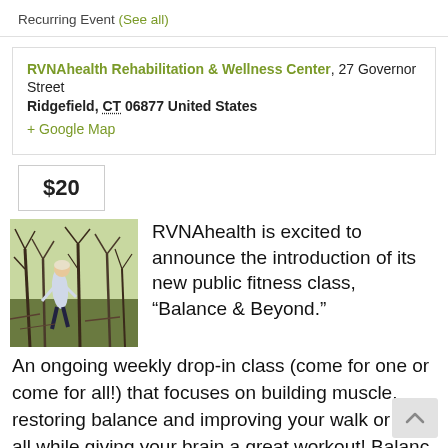Recurring Event (See all)
RVNAhealth Rehabilitation & Wellness Center, 27 Governor Street
Ridgefield, CT 06877 United States
+ Google Map
$20
[Figure (photo): A person walking outdoors among bare trees and brush, winter landscape.]
RVNAhealth is excited to announce the introduction of its new public fitness class, “Balance & Beyond.”
An ongoing weekly drop-in class (come for one or come for all!) that focuses on building muscle, restoring balance and improving your walk or jog, all while giving your brain a great workout! Balanc be a life essential to preventing falls and keeping